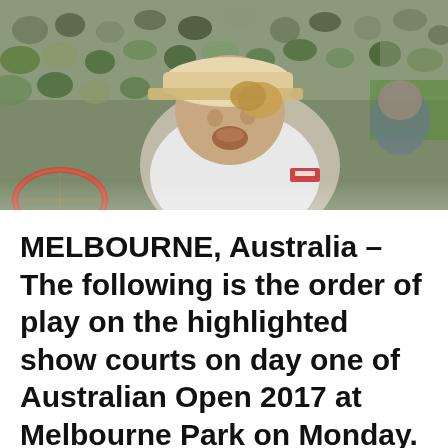[Figure (photo): A tennis player in a white shirt and cap, mouth open in celebration, holding a racket. A large crowd is visible in the background on a green court.]
MELBOURNE, Australia – The following is the order of play on the highlighted show courts on day one of Australian Open 2017 at Melbourne Park on Monday.